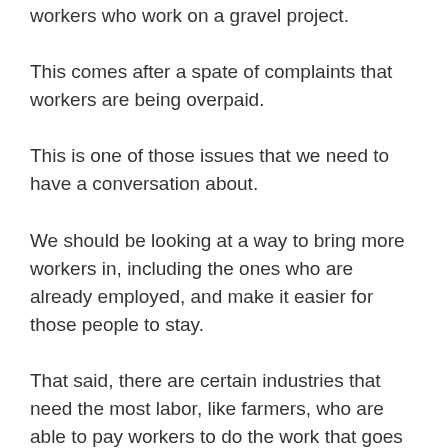workers who work on a gravel project.
This comes after a spate of complaints that workers are being overpaid.
This is one of those issues that we need to have a conversation about.
We should be looking at a way to bring more workers in, including the ones who are already employed, and make it easier for those people to stay.
That said, there are certain industries that need the most labor, like farmers, who are able to pay workers to do the work that goes into the production of the product.